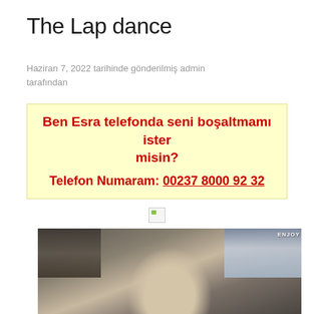The Lap dance
Haziran 7, 2022 tarihinde gönderilmiş admin tarafından
Ben Esra telefonda seni boşaltmamı ister misin?
Telefon Numaram: 00237 8000 92 32
[Figure (photo): Broken image placeholder icon]
[Figure (photo): Black and white photo of a woman with dark short hair, eyes closed, with artwork visible on the wall behind her and the word ENJOY partially visible in upper right]